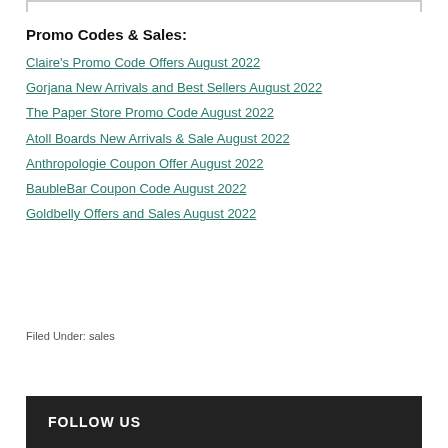Promo Codes & Sales:
Claire's Promo Code Offers August 2022
Gorjana New Arrivals and Best Sellers August 2022
The Paper Store Promo Code August 2022
Atoll Boards New Arrivals & Sale August 2022
Anthropologie Coupon Offer August 2022
BaubleBar Coupon Code August 2022
Goldbelly Offers and Sales August 2022
Filed Under: sales
FOLLOW US